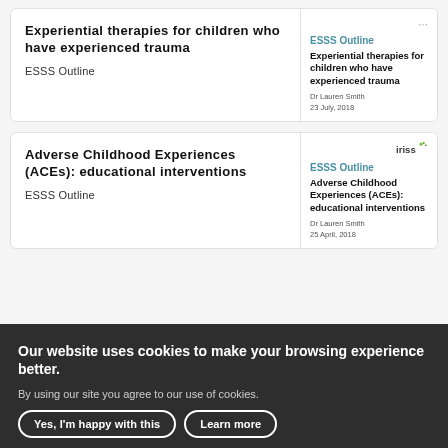Experiential therapies for children who have experienced trauma
ESSS Outline
[Figure (screenshot): Thumbnail of ESSS Outline document: Experiential therapies for children who have experienced trauma. By Dr Lauren Smith, 23 July, 2018.]
Adverse Childhood Experiences (ACEs): educational interventions
ESSS Outline
[Figure (screenshot): Thumbnail of ESSS Outline document: Adverse Childhood Experiences (ACEs): educational interventions. By Dr Lauren Smith, 25 April, 2018. Iriss logo shown.]
Our website uses cookies to make your browsing experience better.
By using our site you agree to our use of cookies.
Yes, I'm happy with this   Learn more